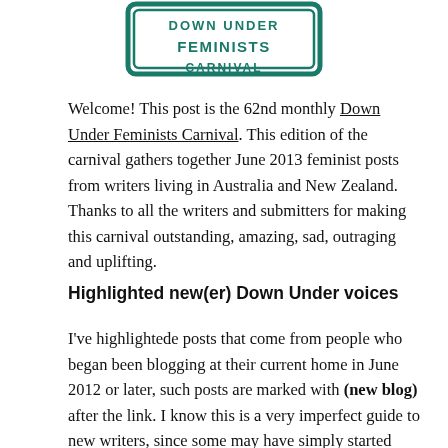[Figure (logo): Down Under Feminists Carnival logo — a sign-shaped badge with teal/green border and hand-drawn text reading 'FEMINISTS CARNIVAL']
Welcome! This post is the 62nd monthly Down Under Feminists Carnival. This edition of the carnival gathers together June 2013 feminist posts from writers living in Australia and New Zealand. Thanks to all the writers and submitters for making this carnival outstanding, amazing, sad, outraging and uplifting.
Highlighted new(er) Down Under voices
I've highlightede posts that come from people who began been blogging at their current home in June 2012 or later, such posts are marked with (new blog) after the link. I know this is a very imperfect guide to new writers, since some may have simply started new blogs or switched URLs, or be well-known as writers in other